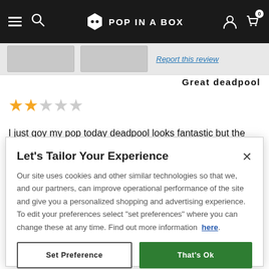Pop In A Box navigation bar
Report this review
Great deadpool
[Figure (other): 2 filled orange stars and 3 empty grey stars rating]
I just goy my pop today deadpool looks fantastic but the box had a little scratch on it. But I'm an out the box so it's
Let’s Tailor Your Experience
Our site uses cookies and other similar technologies so that we, and our partners, can improve operational performance of the site and give you a personalized shopping and advertising experience. To edit your preferences select "set preferences" where you can change these at any time. Find out more information here.
Set Preference
That’s Ok